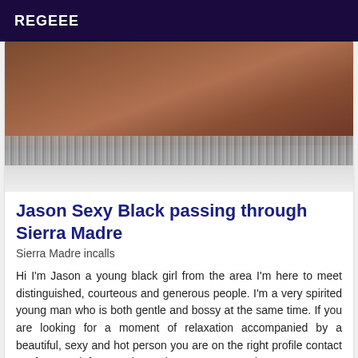REGEEE
[Figure (photo): Close-up photo showing skin and a glittery/sequined fabric or garment band, with white/light background below.]
Jason Sexy Black passing through Sierra Madre
Sierra Madre incalls
Hi I'm Jason a young black girl from the area I'm here to meet distinguished, courteous and generous people. I'm a very spirited young man who is both gentle and bossy at the same time. If you are looking for a moment of relaxation accompanied by a beautiful, sexy and hot person you are on the right profile contact me for more info. I receive and can move around